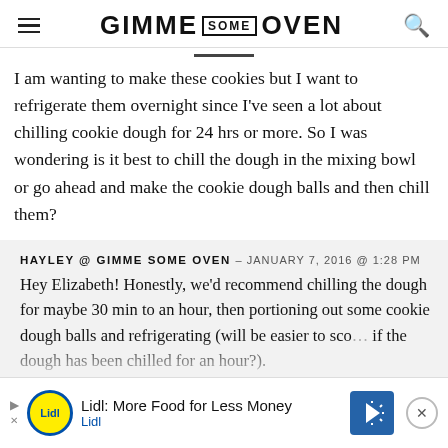GIMME SOME OVEN
I am wanting to make these cookies but I want to refrigerate them overnight since I've seen a lot about chilling cookie dough for 24 hrs or more. So I was wondering is it best to chill the dough in the mixing bowl or go ahead and make the cookie dough balls and then chill them?
HAYLEY @ GIMME SOME OVEN – JANUARY 7, 2016 @ 1:28 PM
Hey Elizabeth! Honestly, we'd recommend chilling the dough for maybe 30 min to an hour, then portioning out some cookie dough balls and refrigerating (will be easier to sco... if the dough has been chilled for an hour?).
We h...